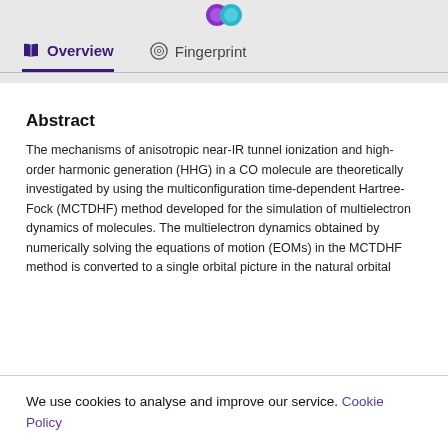[Figure (illustration): Partial view of decorative icons (purple and teal circles/logos) on a grey background at top of page]
Overview    Fingerprint
Abstract
The mechanisms of anisotropic near-IR tunnel ionization and high-order harmonic generation (HHG) in a CO molecule are theoretically investigated by using the multiconfiguration time-dependent Hartree-Fock (MCTDHF) method developed for the simulation of multielectron dynamics of molecules. The multielectron dynamics obtained by numerically solving the equations of motion (EOMs) in the MCTDHF method is converted to a single orbital picture in the natural orbital
We use cookies to analyse and improve our service. Cookie Policy